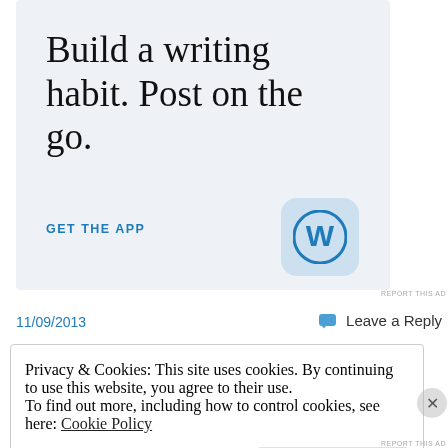[Figure (illustration): WordPress app advertisement banner with light blue background. Large serif text reads 'Build a writing habit. Post on the go.' with a 'GET THE APP' call-to-action link and a WordPress logo icon in the lower right.]
REPORT THIS AD
11/09/2013
Leave a Reply
Privacy & Cookies: This site uses cookies. By continuing to use this website, you agree to their use.
To find out more, including how to control cookies, see here: Cookie Policy
Close and accept